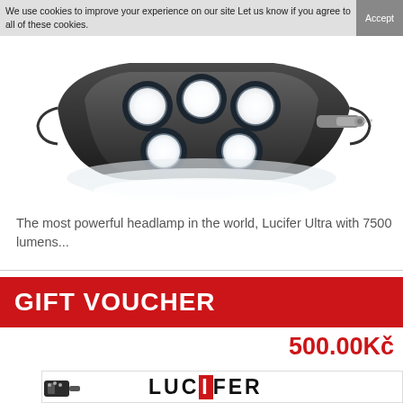We use cookies to improve your experience on our site Let us know if you agree to all of these cookies. Accept
[Figure (photo): Close-up photo of a multi-LED headlamp (Lucifer Ultra) showing 5 bright white LEDs in a black housing with a metal connector on the right side.]
The most powerful headlamp in the world, Lucifer Ultra with 7500 lumens...
[Figure (other): Red banner with white bold text reading GIFT VOUCHER]
500.00Kč
[Figure (logo): Lucifer brand product image with headlamp torch on left and LUCIFER logo text with red box around the I letter on the right.]